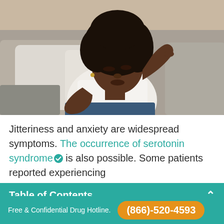[Figure (photo): A young Black woman with natural hair sits on a grey sofa with white pillows, wearing a white blouse and jeans, resting her head on her hand with eyes closed, appearing distressed or in pain.]
Jitteriness and anxiety are widespread symptoms. The occurrence of serotonin syndrome is also possible. Some patients reported experiencing agitation.
Table of Contents
Free & Confidential Drug Hotline. (866)-520-4593